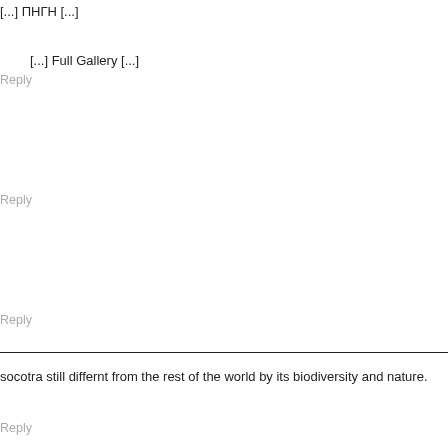[...] ПНГН [...]
[...] Full Gallery [...]
Reply
Reply
Reply
socotra still differnt from the rest of the world by its biodiversity and nature.
Reply